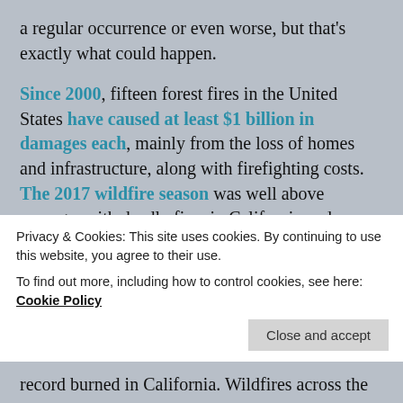a regular occurrence or even worse, but that's exactly what could happen.
Since 2000, fifteen forest fires in the United States have caused at least $1 billion in damages each, mainly from the loss of homes and infrastructure, along with firefighting costs. The 2017 wildfire season was well above average, with deadly fires in California and throughout the West, including Montana, Oregon, and Washington. The 2018 wildfire season went on to also break records as the deadliest and most destructive season on record in California. NOAA estimates total costs of
Privacy & Cookies: This site uses cookies. By continuing to use this website, you agree to their use.
To find out more, including how to control cookies, see here: Cookie Policy
Close and accept
record burned in California. Wildfires across the